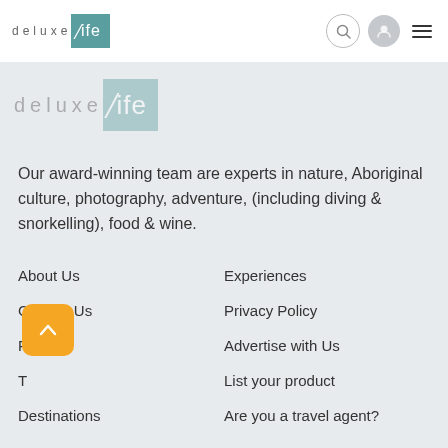deluxeLife navigation bar with search, user, and menu icons
[Figure (logo): deluxeLife logo watermark, large, semi-transparent, teal background]
Our award-winning team are experts in nature, Aboriginal culture, photography, adventure, (including diving & snorkelling), food & wine.
f
About Us
Experiences
Contact Us
Privacy Policy
FAQs
Advertise with Us
Travel
List your product
Destinations
Are you a travel agent?